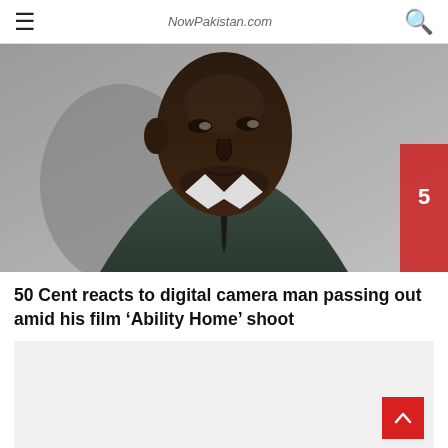☰  NowPakistan.com  🔍
[Figure (photo): Close-up photo of a Black man in a dark suit and black tie, looking to the side, against a grey background.]
50 Cent reacts to digital camera man passing out amid his film 'Ability Home' shoot
[Figure (other): Light grey content placeholder box with a red back-to-top arrow button in the bottom right corner.]